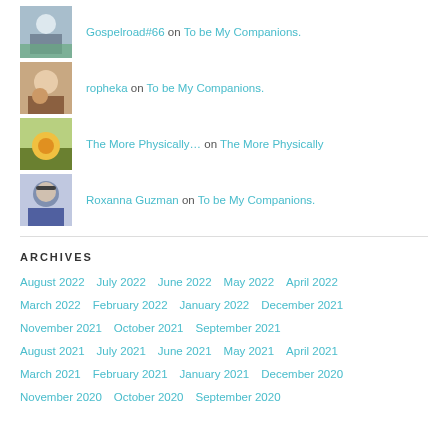Gospelroad#66 on To be My Companions.
ropheka on To be My Companions.
The More Physically… on The More Physically
Roxanna Guzman on To be My Companions.
ARCHIVES
August 2022  July 2022  June 2022  May 2022  April 2022  March 2022  February 2022  January 2022  December 2021  November 2021  October 2021  September 2021  August 2021  July 2021  June 2021  May 2021  April 2021  March 2021  February 2021  January 2021  December 2020  November 2020  October 2020  September 2020